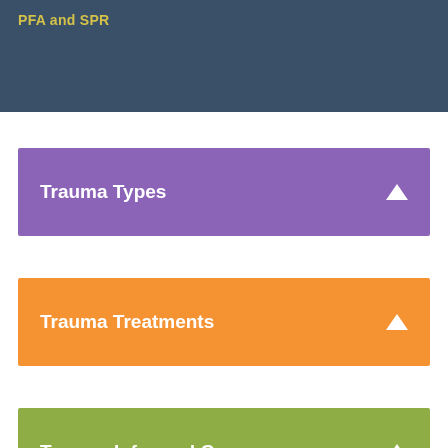PFA and SPR
Trauma Types
Trauma Treatments
Trauma-Informed Care